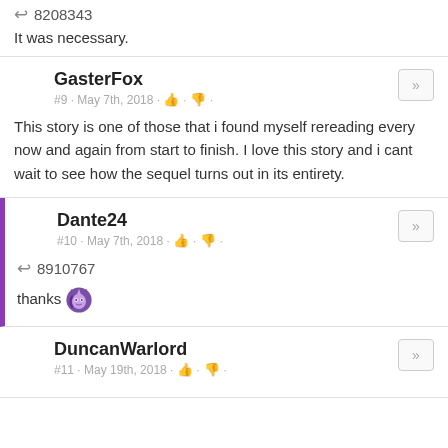8208343
It was necessary.
GasterFox
#9 · May 7th, 2018 · 👍 · 👎 ·
This story is one of those that i found myself rereading every now and again from start to finish. I love this story and i cant wait to see how the sequel turns out in its entirety.
Dante24
#10 · May 7th, 2018 · 👍 · 👎 ·
8910767
thanks 🌟
DuncanWarlord
#11 · May 19th, 2018 · 👍 · 👎 ·